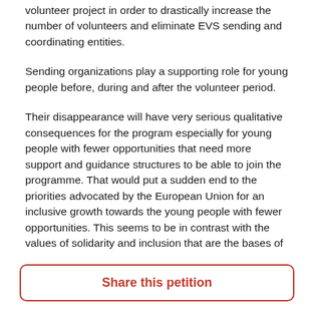volunteer project in order to drastically increase the number of volunteers and eliminate EVS sending and coordinating entities.
Sending organizations play a supporting role for young people before, during and after the volunteer period.
Their disappearance will have very serious qualitative consequences for the program especially for young people with fewer opportunities that need more support and guidance structures to be able to join the programme. That would put a sudden end to the priorities advocated by the European Union for an inclusive growth towards the young people with fewer opportunities. This seems to be in contrast with the values of solidarity and inclusion that are the bases of
Share this petition